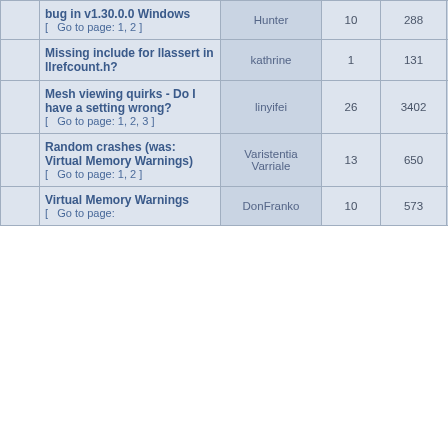|  | Topic | Author | Replies | Views | Last Post |
| --- | --- | --- | --- | --- | --- |
|  | bug in v1.30.0.0 Windows [ Go to page: 1, 2 ] | Hunter | 10 | 288 | 2022-06-08 16:1
Henri Beaucha |
|  | Missing include for llassert in llrefcount.h? | kathrine | 1 | 131 | 2022-05-29 13:0
Henri Beaucha |
|  | Mesh viewing quirks - Do I have a setting wrong? [ Go to page: 1, 2, 3 ] | linyifei | 26 | 3402 | 2022-05-19 17:5
etetet |
|  | Random crashes (was: Virtual Memory Warnings) [ Go to page: 1, 2 ] | Varistentia Varriale | 13 | 650 | 2022-04-23 20:2
PierrotLeFou |
|  | Virtual Memory Warnings [ Go to page: | DonFranko | 10 | 573 | 2022-04-17 08:5
DonFranko |